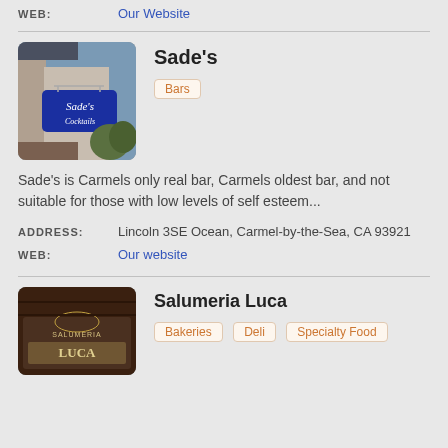WEB: Our Website
[Figure (photo): Photo of Sade's bar sign, blue sign reading Sade's Cocktails]
Sade's
Bars
Sade's is Carmels only real bar, Carmels oldest bar, and not suitable for those with low levels of self esteem...
ADDRESS: Lincoln 3SE Ocean, Carmel-by-the-Sea, CA 93921
WEB: Our website
[Figure (photo): Photo of Salumeria Luca storefront sign]
Salumeria Luca
Bakeries  Deli  Specialty Food